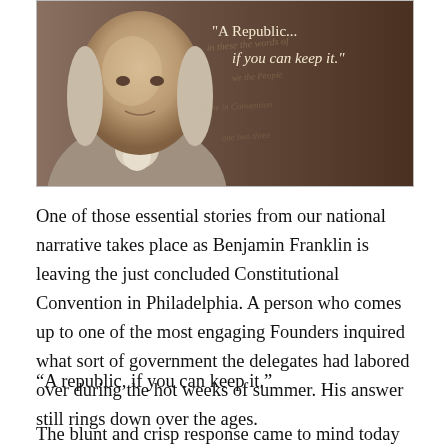[Figure (illustration): Portrait of Benjamin Franklin on the left against a warm brown/gold background, with cursive text overlay on parchment-style right side reading: "A Republic... if you can keep it."]
One of those essential stories from our national narrative takes place as Benjamin Franklin is leaving the just concluded Constitutional Convention in Philadelphia. A person who comes up to one of the most engaging Founders inquired what sort of government the delegates had labored over during the hot weeks of summer. His answer still rings down over the ages.
“A republic, if you can keep it.”
The blunt and crisp response came to mind today when